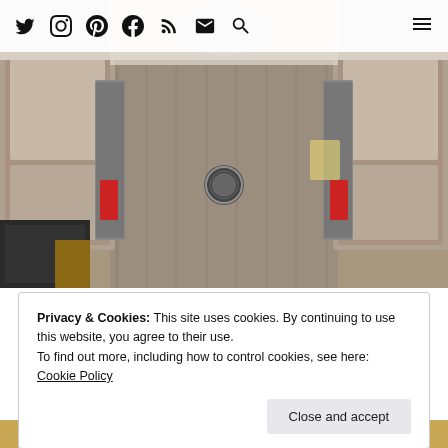Social media icons: Twitter, Instagram, Pinterest, Facebook, RSS, Email, Search, Menu
[Figure (photo): Interior of an RV or camper van viewed from above, showing two bench seats/mattresses on either side, a wood-grain vinyl floor in the center, a small circular floor vent, and what appears to be a light fixture. Dark cabinetry visible in lower left corner.]
Privacy & Cookies: This site uses cookies. By continuing to use this website, you agree to their use.
To find out more, including how to control cookies, see here: Cookie Policy
[Figure (photo): Partial view of another interior photo at the bottom of the page, showing wooden elements.]